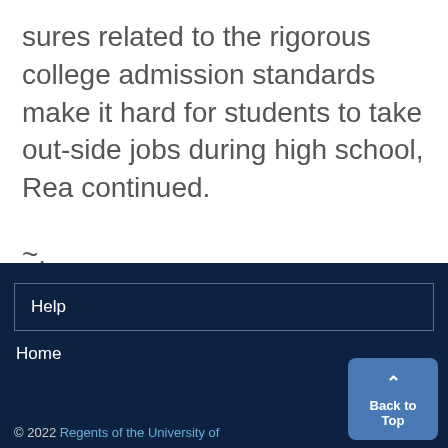sures related to the rigorous college admission standards make it hard for students to take out-side jobs during high school, Rea continued.
~.
Help
Home
© 2022 Regents of the University of
Back to Top